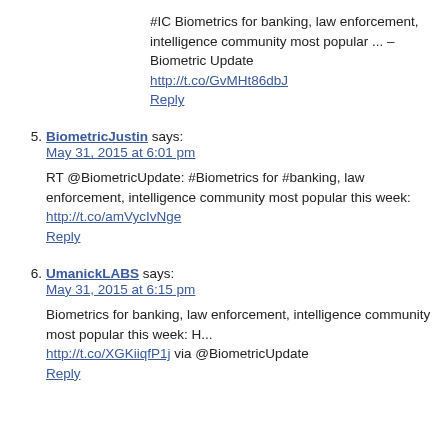#IC Biometrics for banking, law enforcement, intelligence community most popular ... – Biometric Update http://t.co/GvMHt86dbJ
Reply
5. BiometricJustin says: May 31, 2015 at 6:01 pm
RT @BiometricUpdate: #Biometrics for #banking, law enforcement, intelligence community most popular this week: http://t.co/amVycIvNge
Reply
6. UmanickLABS says: May 31, 2015 at 6:15 pm
Biometrics for banking, law enforcement, intelligence community most popular this week: H...
http://t.co/XGKiiqfP1j via @BiometricUpdate
Reply